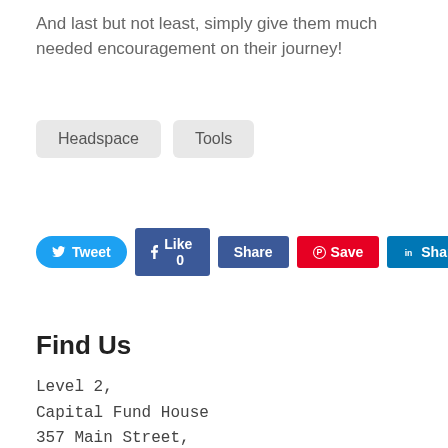And last but not least, simply give them much needed encouragement on their journey!
Headspace
Tools
[Figure (infographic): Social media share buttons: Tweet (Twitter), Like 0 (Facebook), Share (Facebook), Save (Pinterest), Share (LinkedIn)]
Find Us
Level 2,
Capital Fund House
357 Main Street,